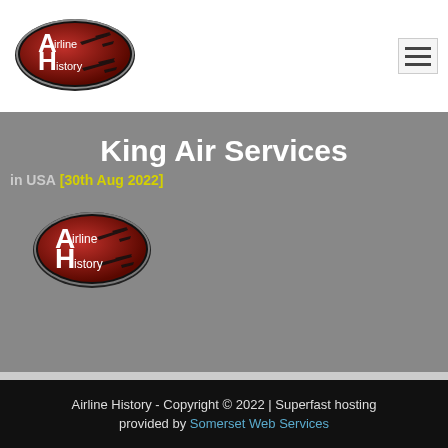[Figure (logo): Airline History oval logo with red background and silhouette aircraft, white text 'Airline History']
King Air Services
in USA [30th Aug 2022]
[Figure (logo): Airline History oval logo (repeated) with red background and silhouette aircraft, white text 'Airline History']
Airline History - Copyright © 2022 | Superfast hosting provided by Somerset Web Services